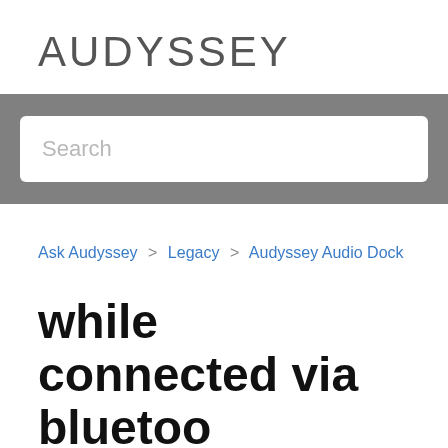AUDYSSEY
[Figure (other): Search bar with gray background and white rounded input field with placeholder text 'Search']
Ask Audyssey > Legacy > Audyssey Audio Dock
while connected via bluetoo